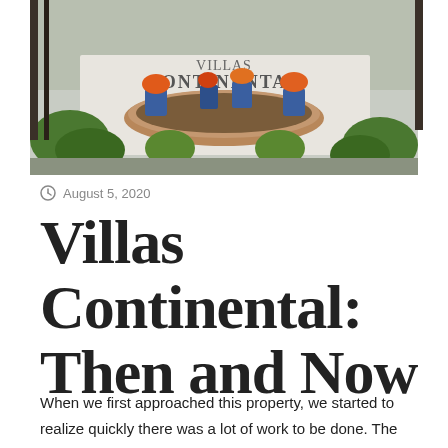[Figure (photo): Exterior photo of Villas Continental property sign with colorful plants and foliage around a white stucco circular planter.]
August 5, 2020
Villas Continental: Then and Now
When we first approached this property, we started to realize quickly there was a lot of work to be done. The roof tiles were